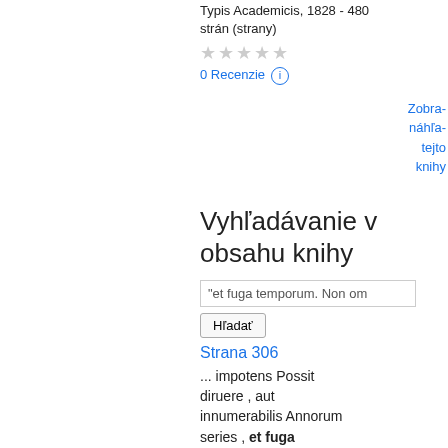Typis Academicis, 1828 - 480 strán (strany)
★★★★★
0 Recenzie ⓘ
Zobra- náhľa- tejto knihy
Vyhľadávanie v obsahu knihy
"et fuga temporum. Non om
Hľadať
Strana 306
... impotens Possit diruere , aut innumerabilis Annorum series , et fuga temporum . Non omnis